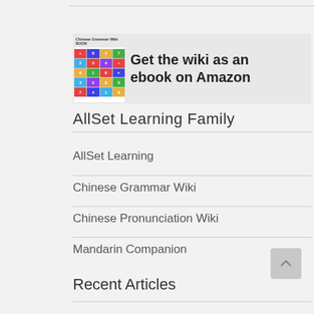[Figure (illustration): Banner advertisement: book cover for Chinese Grammar Wiki BOOK (elementary level) next to text 'Get the wiki as an ebook on Amazon' on a light grey background]
AllSet Learning Family
AllSet Learning
Chinese Grammar Wiki
Chinese Pronunciation Wiki
Mandarin Companion
Recent Articles